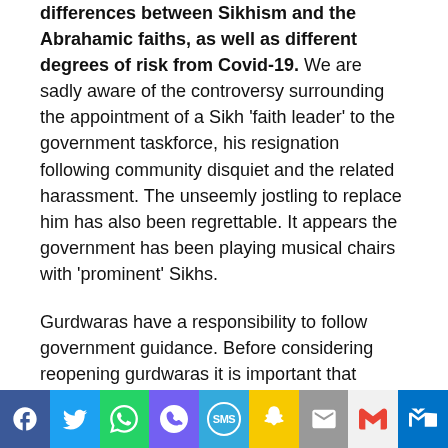differences between Sikhism and the Abrahamic faiths, as well as different degrees of risk from Covid-19. We are sadly aware of the controversy surrounding the appointment of a Sikh 'faith leader' to the government taskforce, his resignation following community disquiet and the related harassment. The unseemly jostling to replace him has also been regrettable. It appears the government has been playing musical chairs with 'prominent' Sikhs.
Gurdwaras have a responsibility to follow government guidance. Before considering reopening gurdwaras it is important that management committees firstly follow existing government advice on mass gatherings and social distancing to help prevent the transmission of Covid-19 and